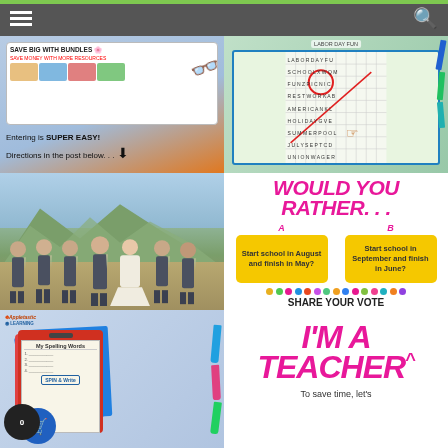Navigation bar with hamburger menu and search icon
[Figure (screenshot): Save Big with Bundles promotional banner with tablet showing educational resources website, orange glasses, text: Entering is SUPER EASY! Directions in the post below... with down arrow]
[Figure (photo): Labor Day Fun word search activity sheet with hand pointing at puzzle, blue clipboard, colorful pencils]
[Figure (photo): Wedding party photo outdoors with mountain background, six men in gray suits with green ties and bride in white floral dress]
[Figure (infographic): Would You Rather question card: pink bold text 'WOULD YOU RATHER...' with two yellow boxes: A: Start school in August and finish in May? B: Start school in September and finish in June? Colorful dots row, text SHARE YOUR VOTE IN THE COMMENTS!]
[Figure (photo): Applastic Learning spelling words clipboard with Spin and Write activity, colorful markers, Applastic Learning logo]
[Figure (infographic): I'm A Teacher^ promotional graphic with pink bold italic text and subtitle: To save time, let's]